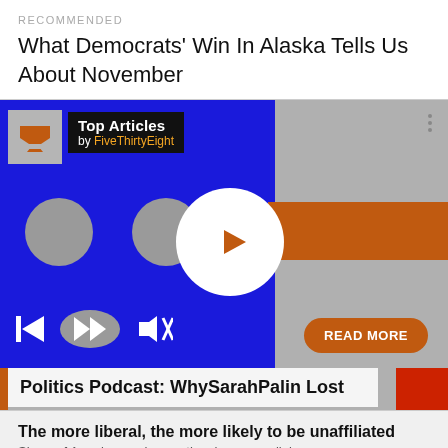RECOMMENDED
What Democrats’ Win In Alaska Tells Us About November
[Figure (screenshot): Screenshot of FiveThirtyEight Top Articles podcast player widget showing a blue and orange interface with play button, media controls, 'READ MORE' button, and title 'Politics Podcast: WhySarahPalin Lost']
The more liberal, the more likely to be unaffiliated
Share of Americans who say they have no religion